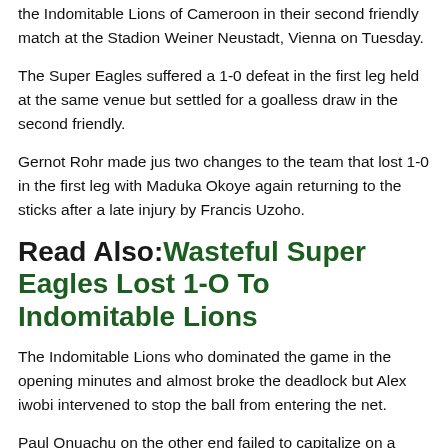the Indomitable Lions of Cameroon in their second friendly match at the Stadion Weiner Neustadt, Vienna on Tuesday.
The Super Eagles suffered a 1-0 defeat in the first leg held at the same venue but settled for a goalless draw in the second friendly.
Gernot Rohr made jus two changes to the team that lost 1-0 in the first leg with Maduka Okoye again returning to the sticks after a late injury by Francis Uzoho.
Read Also:Wasteful Super Eagles Lost 1-O To Indomitable Lions
The Indomitable Lions who dominated the game in the opening minutes and almost broke the deadlock but Alex iwobi intervened to stop the ball from entering the net.
Paul Onuachu on the other end failed to capitalize on a through pass from Iwobi as he fired wide.